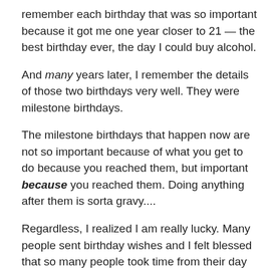remember each birthday that was so important because it got me one year closer to 21 — the best birthday ever, the day I could buy alcohol.
And many years later, I remember the details of those two birthdays very well. They were milestone birthdays.
The milestone birthdays that happen now are not so important because of what you get to do because you reached them, but important because you reached them. Doing anything after them is sorta gravy....
Regardless, I realized I am really lucky. Many people sent birthday wishes and I felt blessed that so many people took time from their day to acknowledge that my mother expelled me from her birth canal. (You know, the mother ought to really get the messages on a birthday...)